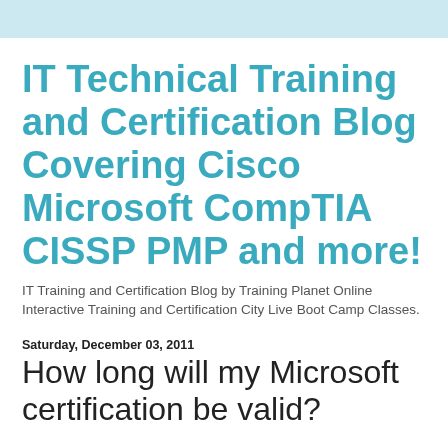IT Technical Training and Certification Blog Covering Cisco Microsoft CompTIA CISSP PMP and more!
IT Training and Certification Blog by Training Planet Online Interactive Training and Certification City Live Boot Camp Classes.
Saturday, December 03, 2011
How long will my Microsoft certification be valid?